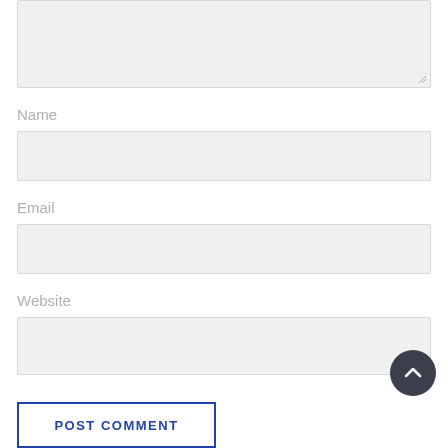[Figure (screenshot): Comment form with textarea (top, partially visible), Name field, Email field, Website field, a scroll-to-top circular button, and a POST COMMENT button]
Name
Email
Website
POST COMMENT